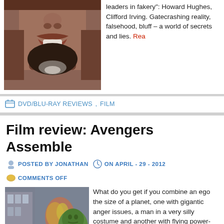[Figure (photo): Close-up photo of a man's lower face showing nose, mouth with slight smile, and dark beard with grey/white chin hair]
leaders in fakery": Howard Hughes, Clifford Irving. Gatecrashing reality, falsehood, bluff – a world of secrets and lies. Read more
DVD/BLU-RAY REVIEWS, FILM
Film review: Avengers Assemble
POSTED BY JONATHAN  ON APRIL - 29 - 2012  COMMENTS OFF
[Figure (photo): Movie still from Avengers Assemble showing Captain America (in blue costume with star), Iron Man (in red/gold armor), and Hulk (large green figure) with fire and a building in background]
What do you get if you combine an ego the size of a planet, one with gigantic anger issues, a man in a very silly costume and another with flying power-armor?
With great power comes... writer/director Joss Whedon, which isn't the best start but might well be the fun...